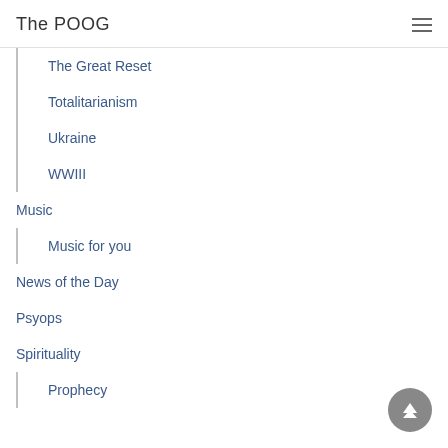The POOG
The Great Reset
Totalitarianism
Ukraine
WWIII
Music
Music for you
News of the Day
Psyops
Spirituality
Prophecy